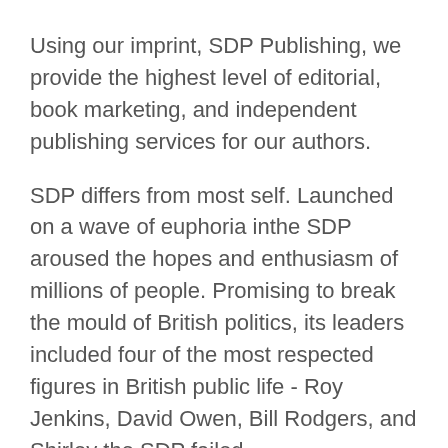Using our imprint, SDP Publishing, we provide the highest level of editorial, book marketing, and independent publishing services for our authors.
SDP differs from most self. Launched on a wave of euphoria inthe SDP aroused the hopes and enthusiasm of millions of people. Promising to break the mould of British politics, its leaders included four of the most respected figures in British public life - Roy Jenkins, David Owen, Bill Rodgers, and Shirley the SDP failed.
Despite winning with the Liberals a quarter of the vote in two general elections. Singapore Democratic Party (SDP), Singapore. 67, likes 1, talking about this were here. The Singapore Democratic Party was constituted in Since then the Party has evolved and.
Take me back to the classic site. You can return to the new experience at any time. Classic site. Free from vested